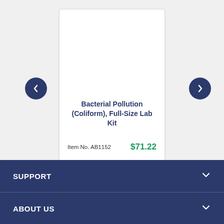[Figure (screenshot): Product card showing Bacterial Pollution (Coliform), Full-Size Lab Kit with Item No. AB1152 and price $71.22, with left and right navigation arrows]
Bacterial Pollution (Coliform), Full-Size Lab Kit
Item No. AB1152   $71.22
SUPPORT
ABOUT US